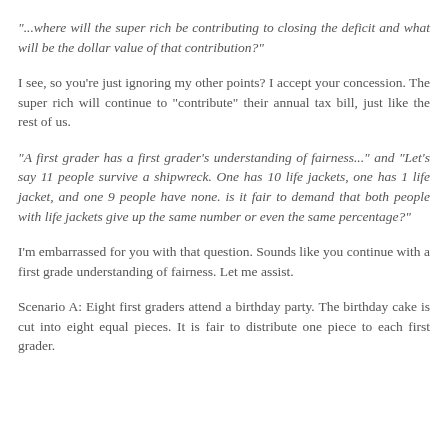"...where will the super rich be contributing to closing the deficit and what will be the dollar value of that contribution?"
I see, so you're just ignoring my other points? I accept your concession. The super rich will continue to "contribute" their annual tax bill, just like the rest of us.
"A first grader has a first grader's understanding of fairness..." and "Let's say 11 people survive a shipwreck. One has 10 life jackets, one has 1 life jacket, and one 9 people have none. is it fair to demand that both people with life jackets give up the same number or even the same percentage?"
I'm embarrassed for you with that question. Sounds like you continue with a first grade understanding of fairness. Let me assist.
Scenario A: Eight first graders attend a birthday party. The birthday cake is cut into eight equal pieces. It is fair to distribute one piece to each first grader.